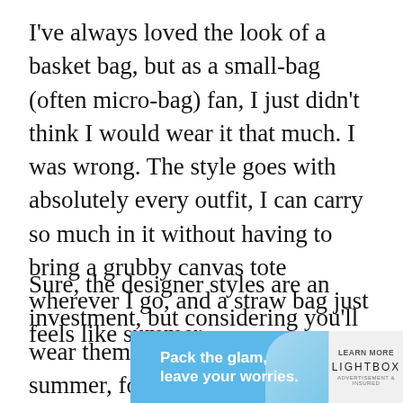I've always loved the look of a basket bag, but as a small-bag (often micro-bag) fan, I just didn't think I would wear it that much. I was wrong. The style goes with absolutely every outfit, I can carry so much in it without having to bring a grubby canvas tote wherever I go, and a straw bag just feels like summer.
Sure, the designer styles are an investment, but considering you'll wear them with every outfit, each summer, for the rest of time, I can vouch for the fact they're worthy of the splurge. So keep scrolling to see the other designer basket bags that are firmly on my wish list.
[Figure (other): Advertisement banner: 'Pack the glam, leave your worries.' with a woman in blue background on the left, and 'LEARN MORE / LIGHTBOX' on the right panel.]